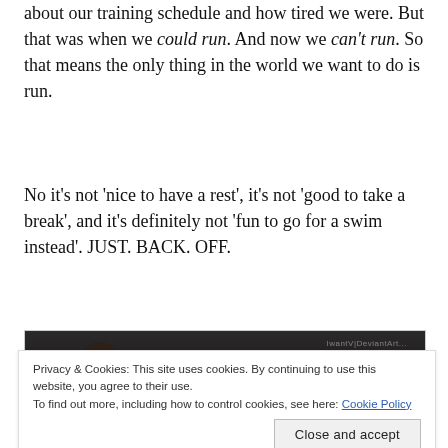about our training schedule and how tired we were. But that was when we could run. And now we can't run. So that means the only thing in the world we want to do is run.
No it's not 'nice to have a rest', it's not 'good to take a break', and it's definitely not 'fun to go for a swim instead'. JUST. BACK. OFF.
[Figure (photo): Dark photo/screenshot showing a person, with watermark text 'IwantV|DeviantArt' in top right corner]
Privacy & Cookies: This site uses cookies. By continuing to use this website, you agree to their use. To find out more, including how to control cookies, see here: Cookie Policy